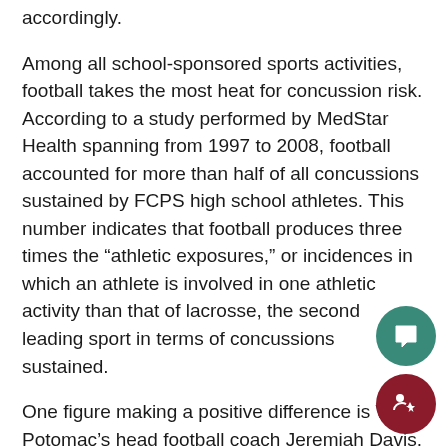accordingly.
Among all school-sponsored sports activities, football takes the most heat for concussion risk. According to a study performed by MedStar Health spanning from 1997 to 2008, football accounted for more than half of all concussions sustained by FCPS high school athletes. This number indicates that football produces three times the “athletic exposures,” or incidences in which an athlete is involved in one athletic activity than that of lacrosse, the second leading sport in terms of concussions sustained.
One figure making a positive difference is West Potomac’s head football coach Jeremiah Davis. Coach Davis himself was a high school and college athlete. During his football career Davis suffered six concussions, the last of which prematurely ended his playing days for good. Due to this, Coach Davis says that he is especially sensitive to the issue. “I would want any kid to suffer a career-ending injury like myself. That